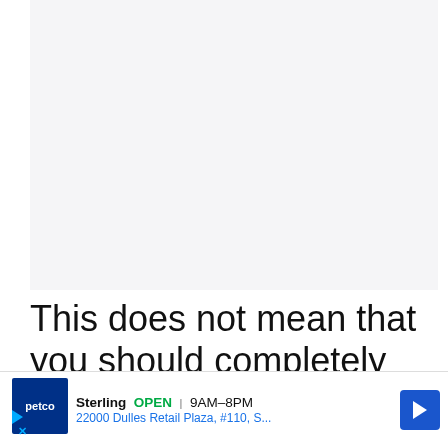[Figure (other): Large blank/white content area representing an image or content block above the text]
This does not mean that you should completely detach yourself from people. Remember, people love being aro...
[Figure (other): Advertisement banner: Petco Sterling OPEN 9AM-8PM 22000 Dulles Retail Plaza, #110, S...]